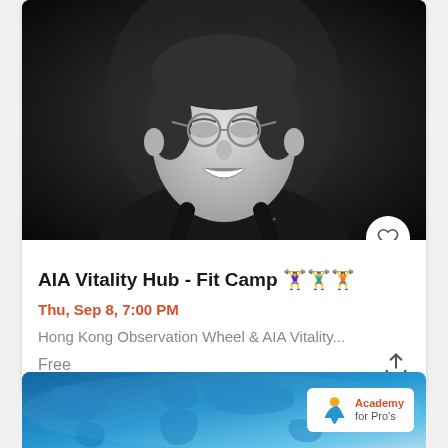[Figure (photo): Black and white portrait photo of a smiling person with glasses and short hair, wearing a dark tank top, laughing with head slightly tilted back]
AIA Vitality Hub - Fit Camp 🏋️‍♀️🏋️‍♂️🏋️
Thu, Sep 8, 7:00 PM
Hong Kong Observation Wheel & AIA Vitality...
Free
[Figure (infographic): Advertisement banner with world map illustration on blue background and Academy for Pro's logo on white rounded box on the right side]